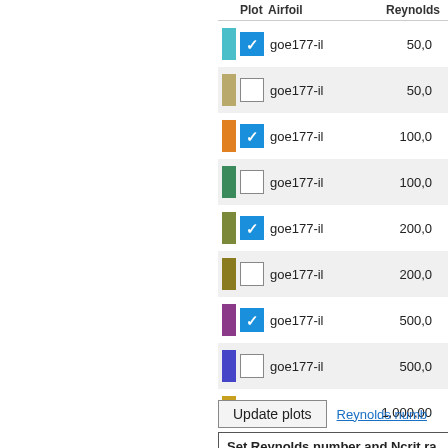| Plot | Airfoil | Reynolds |
| --- | --- | --- |
| checked | goe177-il | 50,0 |
| unchecked | goe177-il | 50,0 |
| checked | goe177-il | 100,0 |
| unchecked | goe177-il | 100,0 |
| checked | goe177-il | 200,0 |
| unchecked | goe177-il | 200,0 |
| checked | goe177-il | 500,0 |
| unchecked | goe177-il | 500,0 |
| checked | goe177-il | 1,000,00 |
| unchecked | goe177-il | 1,000,00 |
Update plots
Reynolds numb
Set Reynolds number and Ncrit ra
Update Range